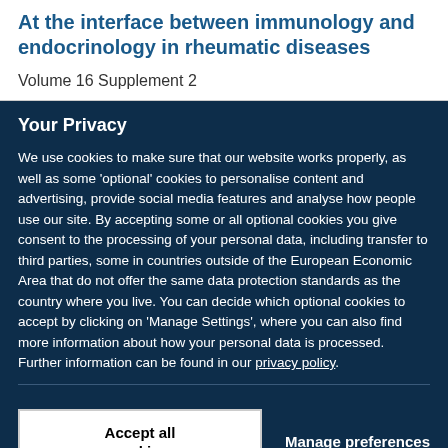At the interface between immunology and endocrinology in rheumatic diseases
Volume 16 Supplement 2
Your Privacy
We use cookies to make sure that our website works properly, as well as some 'optional' cookies to personalise content and advertising, provide social media features and analyse how people use our site. By accepting some or all optional cookies you give consent to the processing of your personal data, including transfer to third parties, some in countries outside of the European Economic Area that do not offer the same data protection standards as the country where you live. You can decide which optional cookies to accept by clicking on 'Manage Settings', where you can also find more information about how your personal data is processed. Further information can be found in our privacy policy.
Accept all cookies
Manage preferences